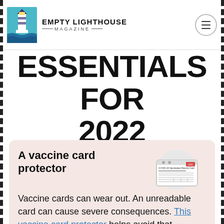EMPTY LIGHTHOUSE MAGAZINE
ESSENTIALS FOR 2022
A vaccine card protector
Vaccine cards can wear out. An unreadable card can cause severe consequences. This vaccine card protector helps avoid that...